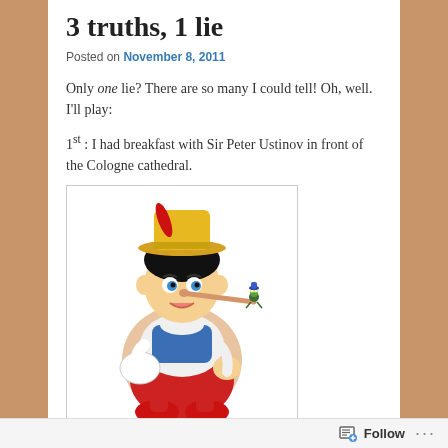3 truths, 1 lie
Posted on November 8, 2011
Only one lie? There are so many I could tell! Oh, well. I'll play:
1st : I had breakfast with Sir Peter Ustinov in front of the Cologne cathedral.
[Figure (illustration): Cartoon illustration of Pinocchio sitting cross-legged with his long nose extended, wearing a yellow hat and blue outfit, with Jiminy Cricket perched on his nose tip.]
2nd: I once chased four tigers around a shipping